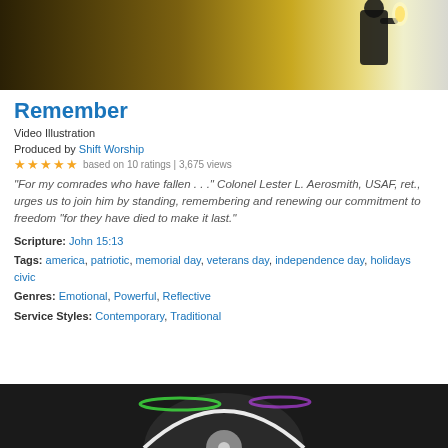[Figure (photo): Silhouette of a person holding a torch/flame against a golden/glowing background]
Remember
Video Illustration
Produced by Shift Worship
★★★★★ based on 10 ratings | 3,675 views
"For my comrades who have fallen . . ." Colonel Lester L. Aerosmith, USAF, ret., urges us to join him by standing, remembering and renewing our commitment to freedom "for they have died to make it last."
Scripture: John 15:13
Tags: america, patriotic, memorial day, veterans day, independence day, holidays civic
Genres: Emotional, Powerful, Reflective
Service Styles: Contemporary, Traditional
[Figure (photo): Vinyl record with colorful glowing lights on dark background]